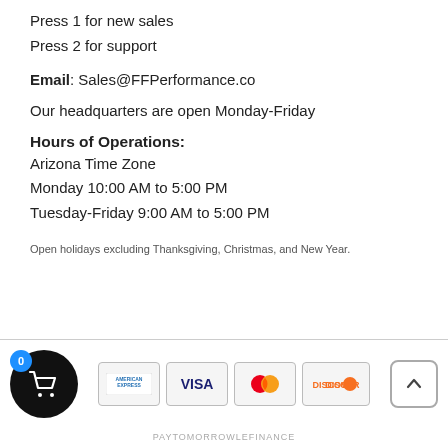Press 1 for new sales
Press 2 for support
Email: Sales@FFPerformance.co
Our headquarters are open Monday-Friday
Hours of Operations:
Arizona Time Zone
Monday 10:00 AM to 5:00 PM
Tuesday-Friday 9:00 AM to 5:00 PM
Open holidays excluding Thanksgiving, Christmas, and New Year.
PAYTOMORROWLEFINANCE